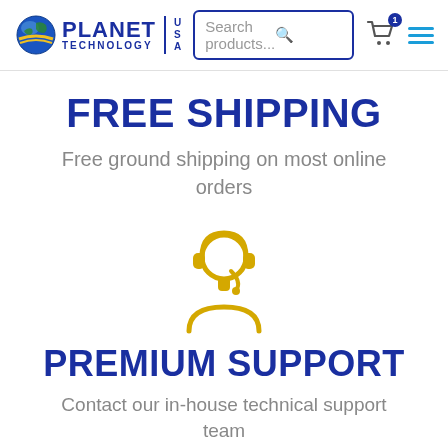Planet Technology USA — Search products... [cart] [menu]
FREE SHIPPING
Free ground shipping on most online orders
[Figure (illustration): Yellow headset/customer support agent icon]
PREMIUM SUPPORT
Contact our in-house technical support team
[Figure (illustration): Yellow WiFi/signal icon (partially visible at bottom)]